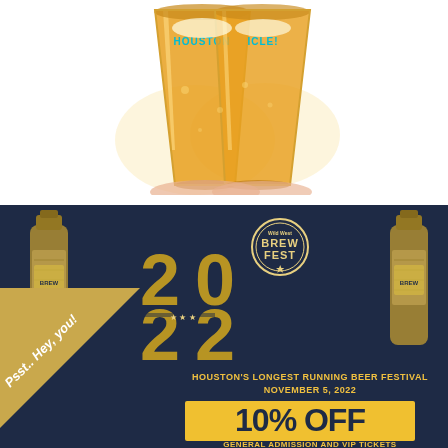[Figure (photo): Two hands holding up pint glasses of golden beer, glasses labeled HOUSTON, clinking together against a white background]
[Figure (infographic): Wild West Brew Fest 2022 advertisement on dark navy background with illustrated beer bottles on sides. Text reads: HOUSTON'S LONGEST RUNNING BEER FESTIVAL, NOVEMBER 5, 2022, 10% OFF, GENERAL ADMISSION AND VIP TICKETS, USE CODE 'BEERCHRONICLE'. Gold/yellow color scheme with large 2022 numerals.]
Psst.. Hey, you!